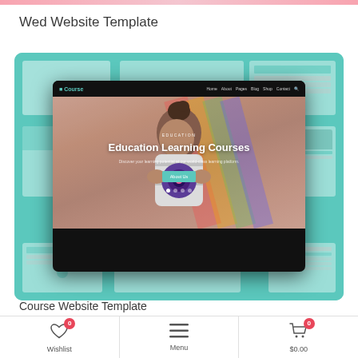Wed Website Template
[Figure (screenshot): Education Learning Courses website template screenshot showing a Course branded education site with a hero image of a child holding a toy camera, teal navigation bar, hero text 'Education Learning Courses', and multiple page layout previews in the background]
Course Website Template
Wishlist 0 | Menu | $0.00 0